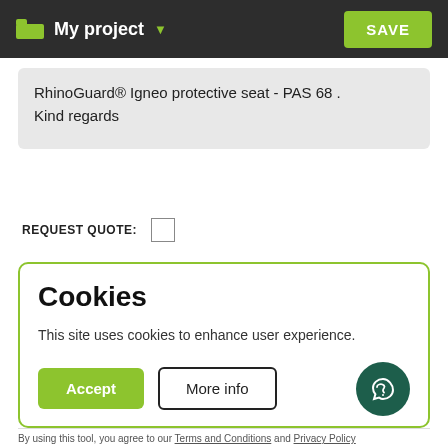My project  SAVE
RhinoGuard® Igneo protective seat - PAS 68 .
Kind regards
REQUEST QUOTE:
Cookies
This site uses cookies to enhance user experience.
Accept   More info
By using this tool, you agree to our Terms and Conditions and Privacy Policy